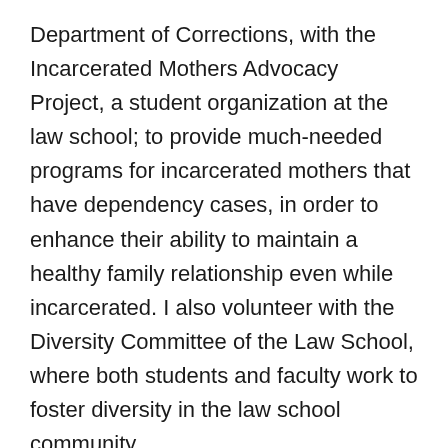Department of Corrections, with the Incarcerated Mothers Advocacy Project, a student organization at the law school; to provide much-needed programs for incarcerated mothers that have dependency cases, in order to enhance their ability to maintain a healthy family relationship even while incarcerated. I also volunteer with the Diversity Committee of the Law School, where both students and faculty work to foster diversity in the law school community. I love to travel, swim and go salsa dancing! I also have an adorable toddler, whose smile lights up my skies, when the sun hides itself in Seattle. I hope to become faculty after I get my PhD. I also hope to work to influence the policies of governments